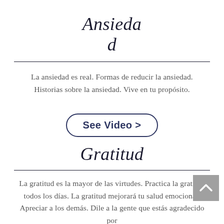Ansiedad
La ansiedad es real. Formas de reducir la ansiedad. Historias sobre la ansiedad. Vive en tu propósito.
[Figure (other): A rounded rectangle button with bold text 'See Video >' in dark navy color with a dark navy border]
Gratitud
La gratitud es la mayor de las virtudes. Practica la gratitud todos los días. La gratitud mejorará tu salud emocional. Apreciar a los demás. Dile a la gente que estás agradecido por